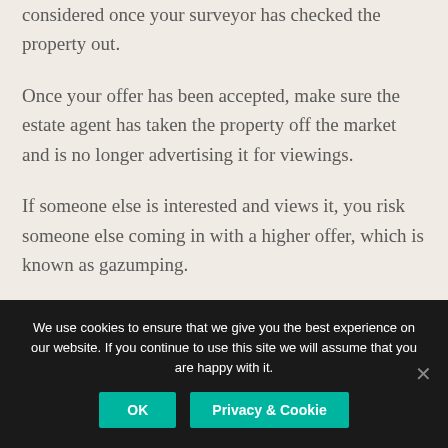considered once your surveyor has checked the property out.
Once your offer has been accepted, make sure the estate agent has taken the property off the market and is no longer advertising it for viewings.
If someone else is interested and views it, you risk someone else coming in with a higher offer, which is known as gazumping.
We use cookies to ensure that we give you the best experience on our website. If you continue to use this site we will assume that you are happy with it.